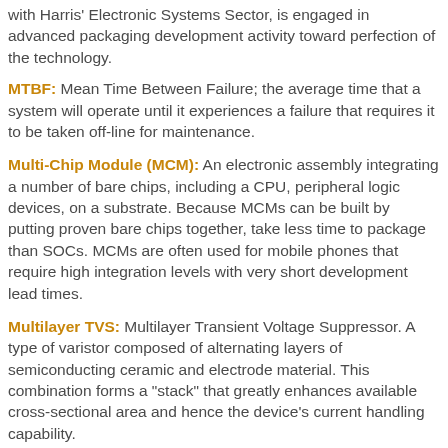with Harris' Electronic Systems Sector, is engaged in advanced packaging development activity toward perfection of the technology.
MTBF: Mean Time Between Failure; the average time that a system will operate until it experiences a failure that requires it to be taken off-line for maintenance.
Multi-Chip Module (MCM): An electronic assembly integrating a number of bare chips, including a CPU, peripheral logic devices, on a substrate. Because MCMs can be built by putting proven bare chips together, they take less time to package than SOCs. MCMs are often used for mobile phones that require high integration levels with very short development lead times.
Multilayer TVS: Multilayer Transient Voltage Suppressor. A type of varistor composed of alternating layers of semiconducting ceramic and electrode material. This combination forms a "stack" that greatly enhances available cross-sectional area and hence the device's current handling capability.
Multiplexer (mux): A device that combines several signals into a single output signal in such a manner each of the input signals subsequently can be recovered. At Intersil, an IC consisting of multiple analog CMOS switches and digital decoding m...